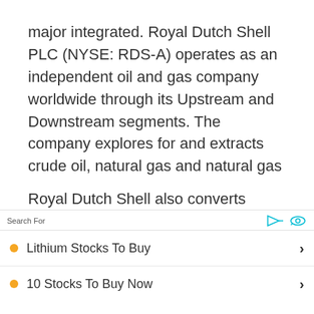major integrated. Royal Dutch Shell PLC (NYSE: RDS-A) operates as an independent oil and gas company worldwide through its Upstream and Downstream segments. The company explores for and extracts crude oil, natural gas and natural gas liquids.
Royal Dutch Shell also converts natural gas
Search For
Lithium Stocks To Buy
10 Stocks To Buy Now